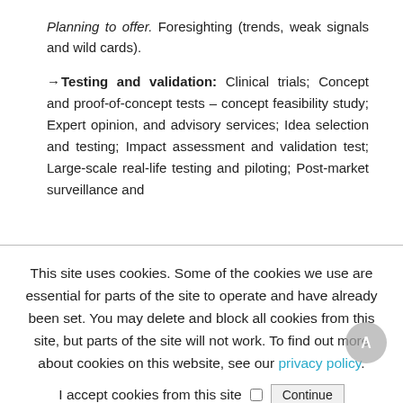Planning to offer. Foresighting (trends, weak signals and wild cards).
→ Testing and validation: Clinical trials; Concept and proof-of-concept tests – concept feasibility study; Expert opinion, and advisory services; Idea selection and testing; Impact assessment and validation test; Large-scale real-life testing and piloting; Post-market surveillance and
This site uses cookies. Some of the cookies we use are essential for parts of the site to operate and have already been set. You may delete and block all cookies from this site, but parts of the site will not work. To find out more about cookies on this website, see our privacy policy.
I accept cookies from this site  Continue